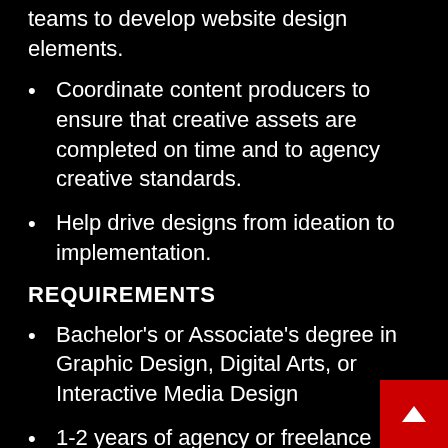teams to develop website design elements.
Coordinate content producers to ensure that creative assets are completed on time and to agency creative standards.
Help drive designs from ideation to implementation.
REQUIREMENTS
Bachelor's or Associate's degree in Graphic Design, Digital Arts, or Interactive Media Design
1-2 years of agency or freelance experience
A portfolio demonstrating strong aesthetic sensibilities with a command over typographic and visual elements
Must be well-organized, timely, and able to pivot between tasks and deadlines